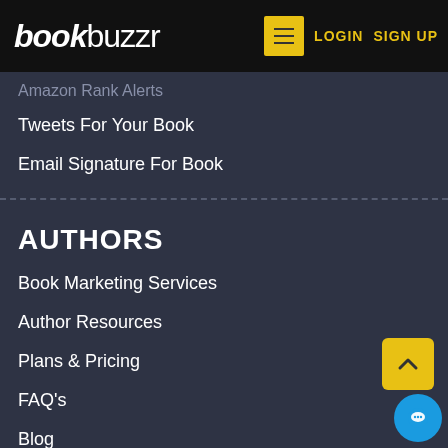bookbuzzr LOGIN SIGN UP
Amazon Rank Alerts
Tweets For Your Book
Email Signature For Book
AUTHORS
Book Marketing Services
Author Resources
Plans & Pricing
FAQ's
Blog
COMPANY
Books